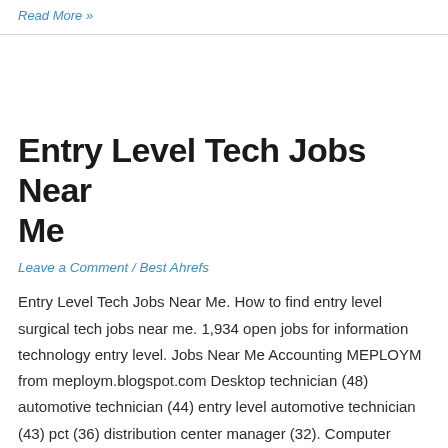Read More »
Entry Level Tech Jobs Near Me
Leave a Comment / Best Ahrefs
Entry Level Tech Jobs Near Me. How to find entry level surgical tech jobs near me. 1,934 open jobs for information technology entry level. Jobs Near Me Accounting MEPLOYM from meploym.blogspot.com Desktop technician (48) automotive technician (44) entry level automotive technician (43) pct (36) distribution center manager (32). Computer technician i job location: Principal responsibilities:integrates ...